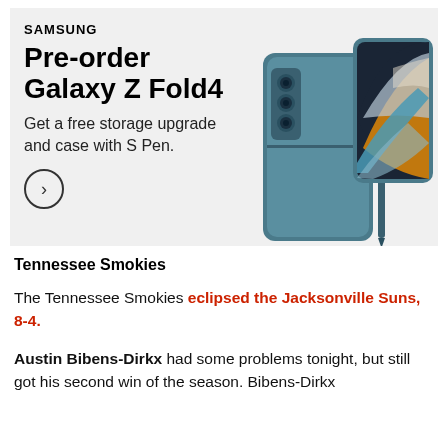[Figure (screenshot): Samsung advertisement banner for Galaxy Z Fold4 pre-order promotion. Features the Samsung logo, bold headline 'Pre-order Galaxy Z Fold4', subtext 'Get a free storage upgrade and case with S Pen.', a circular arrow button, and an image of the folded phone with S Pen in teal color against a light gray background.]
Tennessee Smokies
The Tennessee Smokies eclipsed the Jacksonville Suns, 8-4.
Austin Bibens-Dirkx had some problems tonight, but still got his second win of the season. Bibens-Dirkx